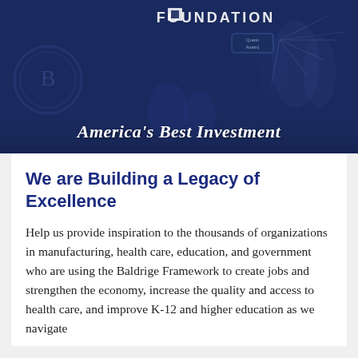[Figure (photo): Dark blue-toned banner image showing a foundation award ceremony with people on stage, a podium, and text overlay reading 'FOUNDATION' at top and 'America's Best Investment' at the bottom in italic white text.]
We are Building a Legacy of Excellence
Help us provide inspiration to the thousands of organizations in manufacturing, health care, education, and government who are using the Baldrige Framework to create jobs and strengthen the economy, increase the quality and access to health care, and improve K-12 and higher education as we navigate